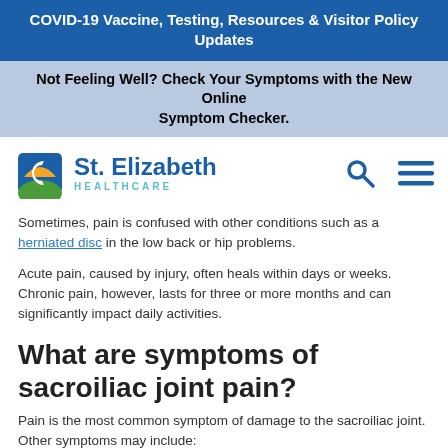COVID-19 Vaccine, Testing, Resources & Visitor Policy Updates
Not Feeling Well? Check Your Symptoms with the New Online Symptom Checker.
[Figure (logo): St. Elizabeth Healthcare logo with search and menu icons]
Sometimes, pain is confused with other conditions such as a herniated disc in the low back or hip problems.
Acute pain, caused by injury, often heals within days or weeks. Chronic pain, however, lasts for three or more months and can significantly impact daily activities.
What are symptoms of sacroiliac joint pain?
Pain is the most common symptom of damage to the sacroiliac joint. Other symptoms may include:
Pain that radiates to the lower back, groin, or upper thigh